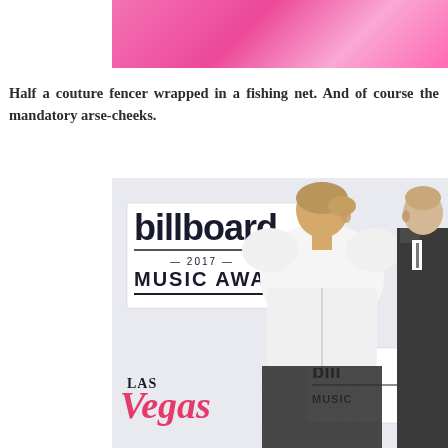[Figure (photo): Partial photo at top of page showing a pink background or pink fabric, cropped.]
Half a couture fencer wrapped in a fishing net. And of course the mandatory arse-cheeks.
[Figure (photo): Photo of a woman in a white structured cropped jacket with puff shoulders and black lace/fishnet on the bottom half, viewed from behind/side at the Billboard 2017 Music Awards in Las Vegas. A man in a dark suit is partially visible behind her.]